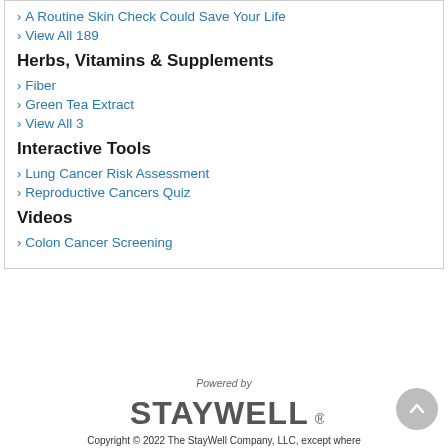> A Routine Skin Check Could Save Your Life
> View All 189
Herbs, Vitamins & Supplements
> Fiber
> Green Tea Extract
> View All 3
Interactive Tools
> Lung Cancer Risk Assessment
> Reproductive Cancers Quiz
Videos
> Colon Cancer Screening
Powered by STAYWELL® Copyright © 2022 The StayWell Company, LLC, except where